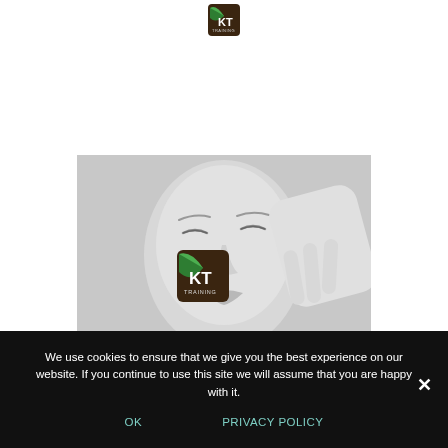[Figure (logo): KT Training logo — dark brown square badge with green swoosh/leaf and white KT lettering, small TRAINING text below]
[Figure (photo): Black and white close-up photo of a woman's face with eyes closed, hand touching her cheek; KT Training logo overlaid in center]
We use cookies to ensure that we give you the best experience on our website. If you continue to use this site we will assume that you are happy with it.
OK
PRIVACY POLICY